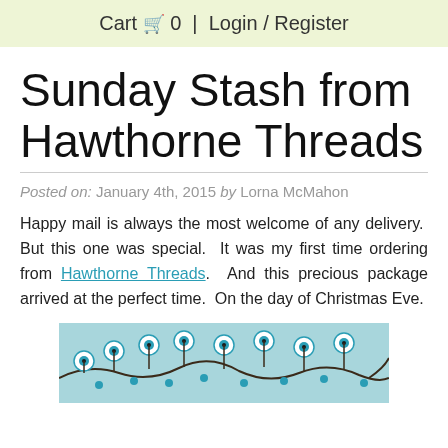Cart 🛒 0 | Login / Register
Sunday Stash from Hawthorne Threads
Posted on: January 4th, 2015 by Lorna McMahon
Happy mail is always the most welcome of any delivery.  But this one was special.  It was my first time ordering from Hawthorne Threads.  And this precious package arrived at the perfect time.  On the day of Christmas Eve.
[Figure (illustration): Decorative fabric pattern with teal and white swirling floral/vine designs on a light blue background]